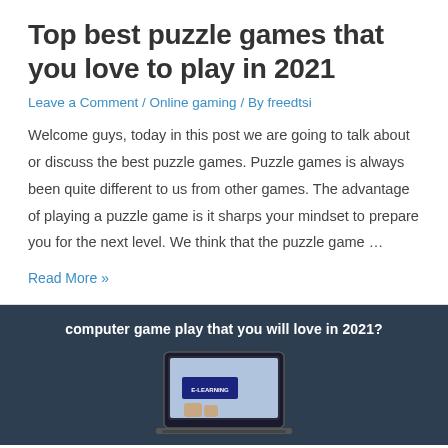Top best puzzle games that you love to play in 2021
Leave a Comment / Online gaming / By freedtsi
Welcome guys, today in this post we are going to talk about or discuss the best puzzle games. Puzzle games is always been quite different to us from other games. The advantage of playing a puzzle game is it sharps your mindset to prepare you for the next level. We think that the puzzle game …
Read More »
[Figure (photo): Dark navy background with bold white text reading 'computer game play that you will love in 2021?' and a laptop/tablet device showing an E-LEARNING screen below]